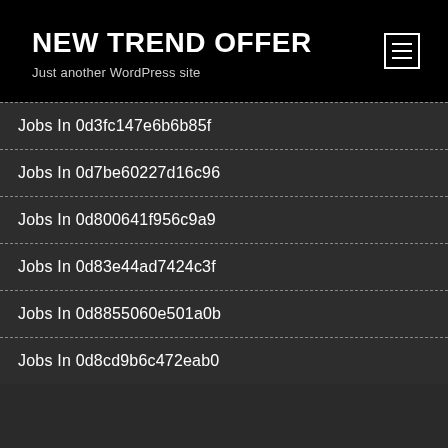NEW TREND OFFER
Just another WordPress site
Jobs In 0d3fc147e6b6b85f
Jobs In 0d7be60227d16c96
Jobs In 0d800641f956c9a9
Jobs In 0d83e44ad7424c3f
Jobs In 0d8855060e501a0b
Jobs In 0d8cd9b6c472eab0